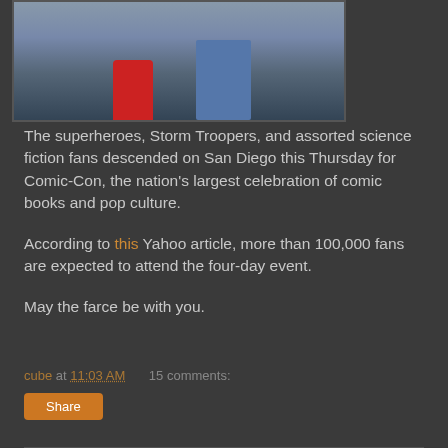[Figure (photo): Photo showing lower body of people in costumes — person in red superhero boots and blue/red costume, and another person in blue jeans with dark sneakers, with a dog visible]
The superheroes, Storm Troopers, and assorted science fiction fans descended on San Diego this Thursday for Comic-Con, the nation's largest celebration of comic books and pop culture.
According to this Yahoo article, more than 100,000 fans are expected to attend the four-day event.
May the farce be with you.
cube at 11:03 AM    15 comments: